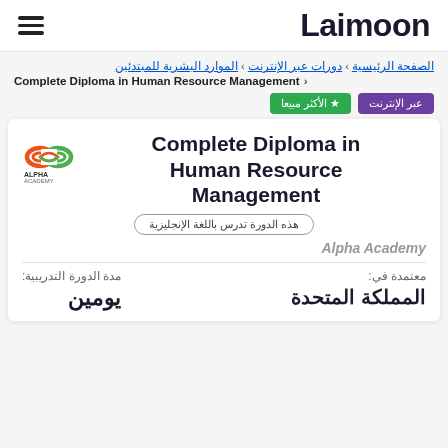Laimoon
الصفحة الرئيسية > دورات عبر الإنترنت > الموارد البشرية للمبتدئين > Complete Diploma in Human Resource Management
عبر الإنترنت | الأكثر مبيعا
Complete Diploma in Human Resource Management
هذه الدورة تدرس باللغة الإنجليزية
Alpha Academy
مدة الدورة التدريبية: يومين
معتمدة في: المملكة المتحدة